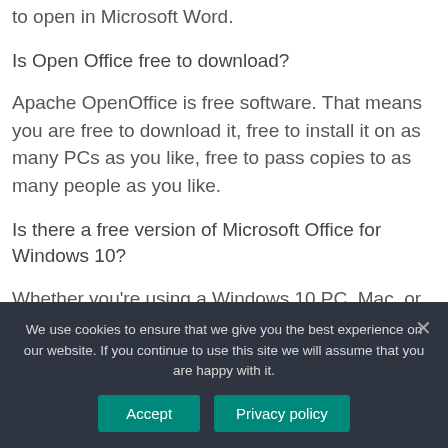to open in Microsoft Word.
Is Open Office free to download?
Apache OpenOffice is free software. That means you are free to download it, free to install it on as many PCs as you like, free to pass copies to as many people as you like.
Is there a free version of Microsoft Office for Windows 10?
Whether you're using a Windows 10 PC, Mac, or Chromebook,
We use cookies to ensure that we give you the best experience on our website. If you continue to use this site we will assume that you are happy with it.
Accept
Privacy policy